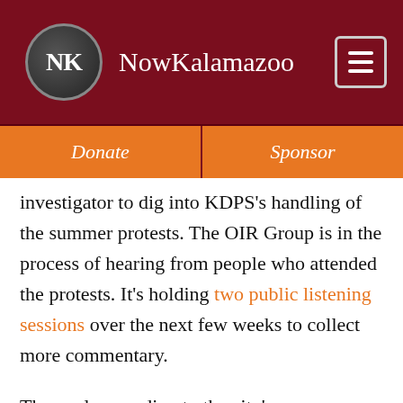NowKalamazoo
Donate
Sponsor
investigator to dig into KDPS’s handling of the summer protests. The OIR Group is in the process of hearing from people who attended the protests. It’s holding two public listening sessions over the next few weeks to collect more commentary.
The goal, according to the city’s subcommittee, is to ensure people can protest “while also preserving the peace, protecting life and preventing the